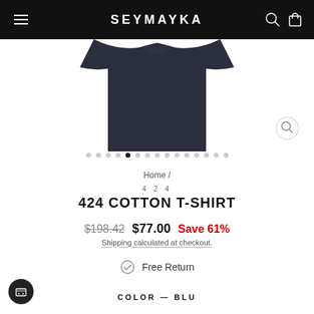SEYMAYKA
[Figure (photo): Partial view of a dark navy blue cotton t-shirt on white background]
Home /
424
424 COTTON T-SHIRT
$198.42  $77.00  Save 61%
Shipping calculated at checkout.
Free Return
COLOR — BLU